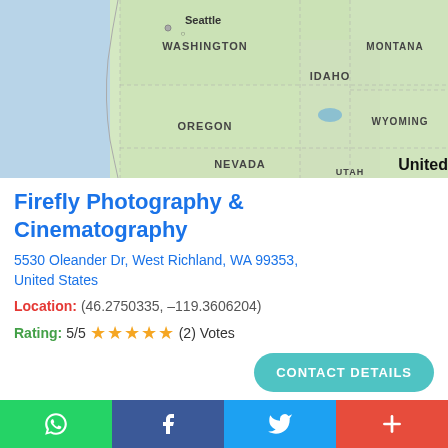[Figure (map): Google Maps showing northwestern United States with Seattle, Washington, Oregon, Idaho, Montana, Wyoming, Nevada, Utah visible. Blue ocean on left side.]
Firefly Photography & Cinematography
5530 Oleander Dr, West Richland, WA 99353, United States
Location: (46.2750335, –119.3606204)
Rating: 5/5 ★★★★★ (2) Votes
CONTACT DETAILS